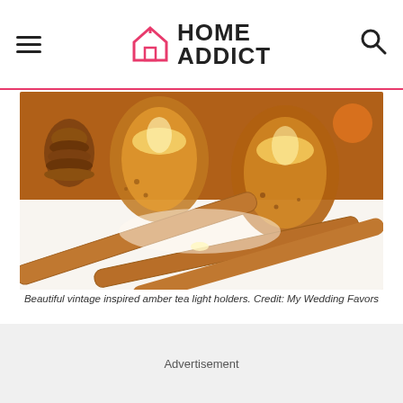HOME ADDICT
[Figure (photo): Photograph of vintage amber tea light holders with cinnamon sticks and a pine cone on a white surface.]
Beautiful vintage inspired amber tea light holders. Credit: My Wedding Favors
ADVERTISEMENT
Advertisement